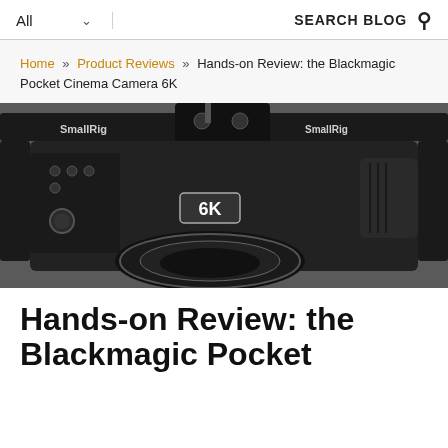All ∨  SEARCH BLOG 🔍
Home » Product Reviews » Hands-on Review: the Blackmagic Pocket Cinema Camera 6K
[Figure (photo): Black and white photo of a Blackmagic Pocket Cinema Camera 6K mounted in a SmallRig camera cage, showing the front of the camera with lens and 6K badge visible]
Hands-on Review: the Blackmagic Pocket Cinema Camera 6K